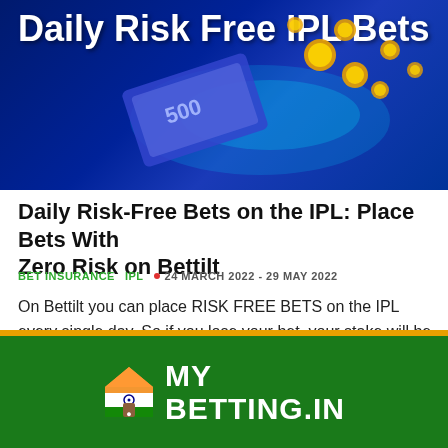[Figure (illustration): Dark blue promotional banner for 'Daily Risk Free IPL Bets' showing currency notes and gold coins on a glowing blue background with white bold text overlay.]
Daily Risk-Free Bets on the IPL: Place Bets With Zero Risk on Bettilt
BET INSURANCE   IPL   • 24 MARCH 2022 - 29 MAY 2022
On Bettilt you can place RISK FREE BETS on the IPL every single day. So if you lose your bet, your stake will be returned to you as a free bet! Read more ▶
[Figure (logo): MY BETTING IN logo on green background with saffron/orange stripe divider, featuring a house icon with Indian flag colors.]